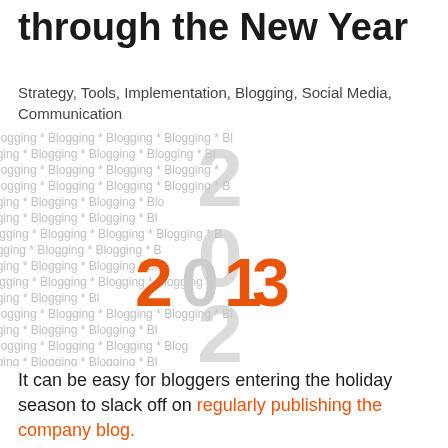through the New Year
Strategy, Tools, Implementation, Blogging, Social Media, Communication
[Figure (illustration): Decorative background of repeating 'Blogging *' text in light grey, overlaid with large stylized year digits: ghost '2', '0', '2' stacked vertically in grey, and '2013' in orange/grey in the foreground center.]
It can be easy for bloggers entering the holiday season to slack off on regularly publishing the company blog.